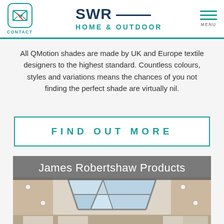CONTACT | SWR HOME & OUTDOOR | MENU
All QMotion shades are made by UK and Europe textile designers to the highest standard. Countless colours, styles and variations means the chances of you not finding the perfect shade are virtually nil.
FIND OUT MORE
James Robertshaw Products
[Figure (photo): Interior photo showing a glass skylight/rooflight in a modern room ceiling with recessed lighting]